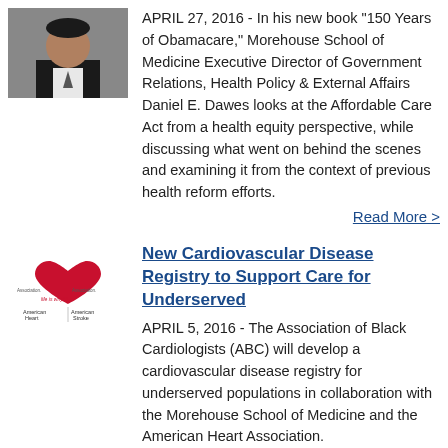[Figure (photo): Photo of a man in a dark suit]
APRIL 27, 2016 - In his new book "150 Years of Obamacare," Morehouse School of Medicine Executive Director of Government Relations, Health Policy & External Affairs Daniel E. Dawes looks at the Affordable Care Act from a health equity perspective, while discussing what went on behind the scenes and examining it from the context of previous health reform efforts.
Read More >
[Figure (logo): American Heart Association / American Stroke Association logo with 'life is why' tagline]
New Cardiovascular Disease Registry to Support Care for Underserved
APRIL 5, 2016 - The Association of Black Cardiologists (ABC) will develop a cardiovascular disease registry for underserved populations in collaboration with the Morehouse School of Medicine and the American Heart Association.
Read Mo...